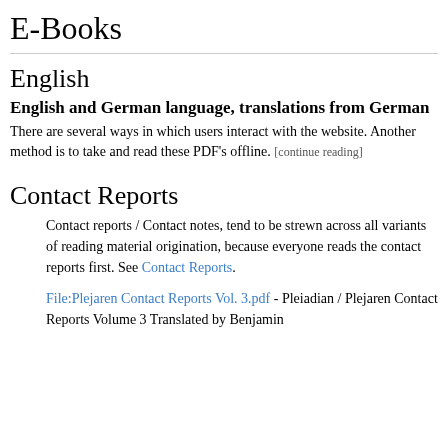E-Books
English
English and German language, translations from German
There are several ways in which users interact with the website. Another method is to take and read these PDF's offline. [continue reading]
Contact Reports
Contact reports / Contact notes, tend to be strewn across all variants of reading material origination, because everyone reads the contact reports first. See Contact Reports.
File:Plejaren Contact Reports Vol. 3.pdf - Pleiadian / Plejaren Contact Reports Volume 3 Translated by Benjamin